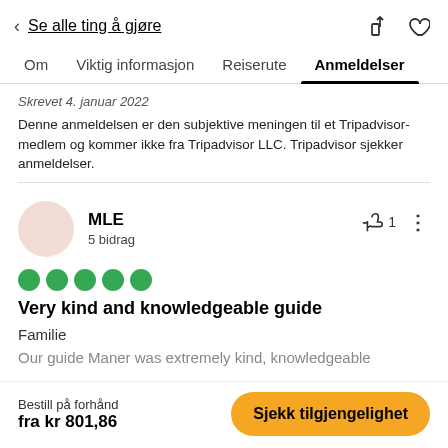< Se alle ting å gjøre
Om   Viktig informasjon   Reiserute   Anmeldelser
Skrevet 4. januar 2022
Denne anmeldelsen er den subjektive meningen til et Tripadvisor-medlem og kommer ikke fra Tripadvisor LLC. Tripadvisor sjekker anmeldelser.
MLE
5 bidrag
[Figure (other): Five green filled circles representing a 5-star rating]
Very kind and knowledgeable guide
Familie
Our guide Maner was extremely kind, knowledgeable
Bestill på forhånd fra kr 801,86   Sjekk tilgjengelighet